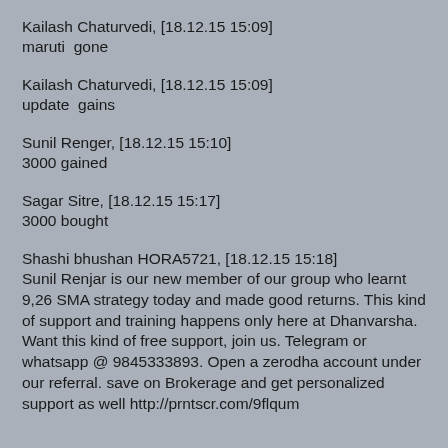Kailash Chaturvedi, [18.12.15 15:09]
maruti  gone
Kailash Chaturvedi, [18.12.15 15:09]
update  gains
Sunil Renger, [18.12.15 15:10]
3000 gained
Sagar Sitre, [18.12.15 15:17]
3000 bought
Shashi bhushan HORA5721, [18.12.15 15:18]
Sunil Renjar is our new member of our group who learnt 9,26 SMA strategy today and made good returns. This kind of support and training happens only here at Dhanvarsha. Want this kind of free support, join us. Telegram or whatsapp @ 9845333893. Open a zerodha account under our referral. save on Brokerage and get personalized support as well http://prntscr.com/9flqum